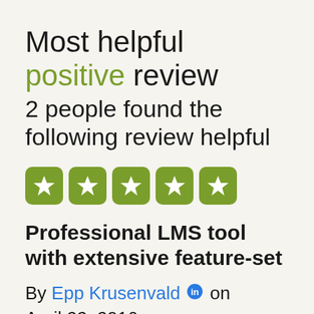Most helpful positive review
2 people found the following review helpful
[Figure (other): Five green star rating boxes (5 out of 5 stars)]
Professional LMS tool with extensive feature-set
By Epp Krusenvald on April 22, 2016
I find TrainCaster to be